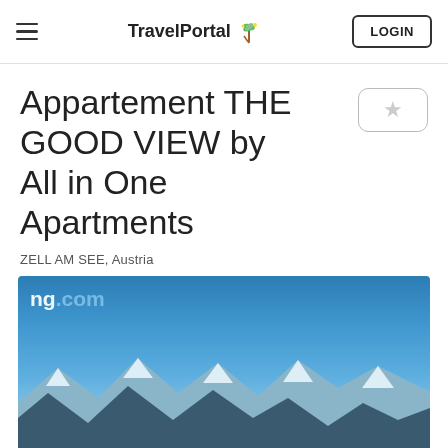TravelPortal LOGIN
Appartement THE GOOD VIEW by All in One Apartments
ZELL AM SEE, Austria
[Figure (photo): Outdoor mountain landscape photo with blue sky and snow-capped mountains, partially cropped, with a booking.com watermark in the top-left corner.]